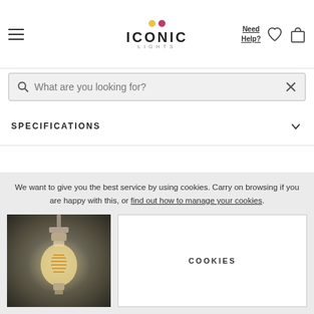ICONIC LIGHTS - Navigation header with hamburger menu, logo, Need Help?, heart icon, and bag icon
What are you looking for?
SPECIFICATIONS
FAQS
DELIVERY INFORMATION
Bestsellers
We want to give you the best service by using cookies. Carry on browsing if you are happy with this, or find out how to manage your cookies.
[Figure (photo): Hanging Edison-style filament bulb pendant light against dark background]
COOKIES